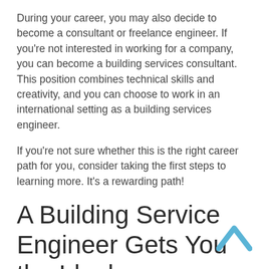During your career, you may also decide to become a consultant or freelance engineer. If you're not interested in working for a company, you can become a building services consultant. This position combines technical skills and creativity, and you can choose to work in an international setting as a building services engineer.
If you're not sure whether this is the right career path for you, consider taking the first steps to learning more. It's a rewarding path!
A Building Service Engineer Gets You the Ideal Specifications You Want